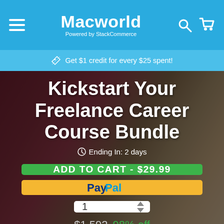Macworld — Powered by StackCommerce
Get $1 credit for every $25 spent!
Kickstart Your Freelance Career Course Bundle
Ending In: 2 days
ADD TO CART - $29.99
[Figure (logo): PayPal button]
1
$1,592  98% off